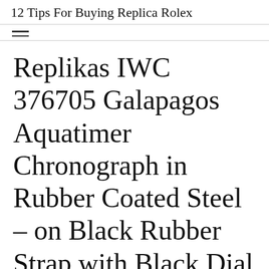12 Tips For Buying Replica Rolex
Replikas IWC 376705 Galapagos Aquatimer Chronograph in Rubber Coated Steel – on Black Rubber Strap with Black Dial – Limited EditionIWC Engineer Gold Steel Ladies 40%